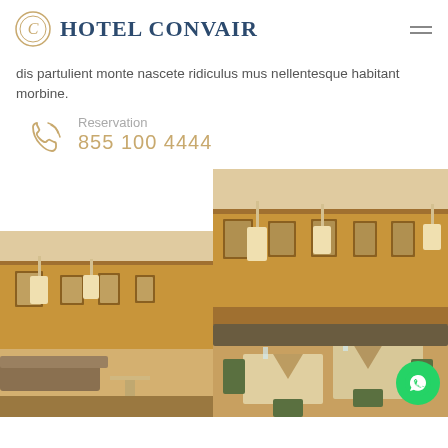HOTEL CONVAIR
dis partulient monte nascete ridiculus mus nellentesque habitant morbine.
Reservation
855 100 4444
[Figure (photo): Hotel restaurant interior with warm wood paneling, framed artwork on walls, pendant lights, and seating area — left photo]
[Figure (photo): Hotel restaurant interior with wood paneling, framed artwork, pendant lights, and dining tables set with folded napkins — right photo, larger, overlapping left]